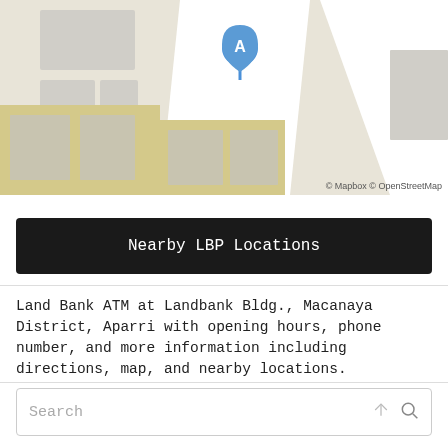[Figure (map): Street map showing Landbank Bldg., Macanaya District, Aparri with a blue location pin marker labeled A. Map shows streets and building footprints in gray and beige. Attribution: © Mapbox © OpenStreetMap]
Nearby LBP Locations
Land Bank ATM at Landbank Bldg., Macanaya District, Aparri with opening hours, phone number, and more information including directions, map, and nearby locations.
Search